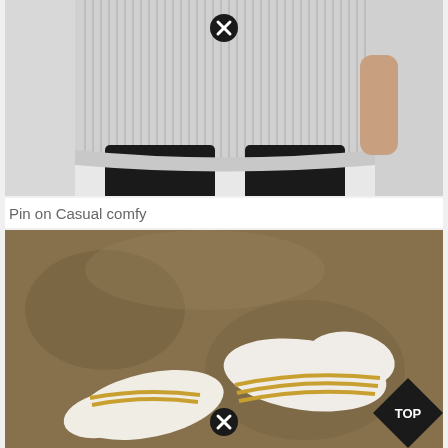[Figure (photo): Fashion photo of a person wearing a striped blouse/tunic with black leggings, showing the torso and legs. A circular X/close button icon overlays the image.]
Pin on Casual comfy
[Figure (photo): Photo of feet wearing white ankle socks with gold/yellow stripes, on a beige/tan carpet background. A circular X/close button icon overlays the image, and a black diamond 'TOP' badge is in the lower right corner.]